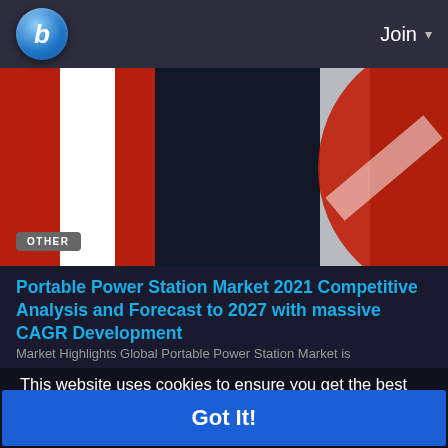[Figure (screenshot): Website navigation bar with blue globe logo with letter b and Join dropdown button on dark background]
[Figure (photo): Close-up of red, white and dark blue graphic/logo shapes - partial view]
OTHER
Portable Power Station Market 2021 Competitive Analysis and Forecast to 2027 with massive CAGR Development
Market Highlights Global Portable Power Station Market is
This website uses cookies to ensure you get the best experience on our website
Learn More
Got It!